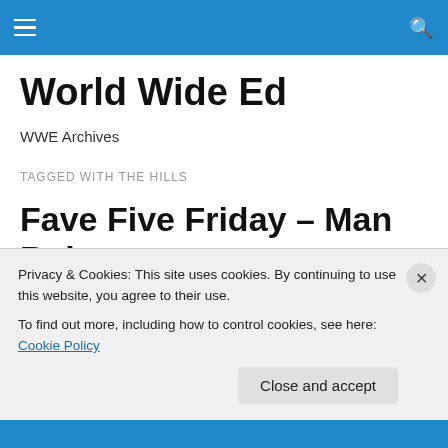World Wide Ed — navigation bar
World Wide Ed
WWE Archives
TAGGED WITH THE HILLS
Fave Five Friday – Man Rules
Before our softball game last weekend, the team singled
Privacy & Cookies: This site uses cookies. By continuing to use this website, you agree to their use.
To find out more, including how to control cookies, see here: Cookie Policy
Close and accept